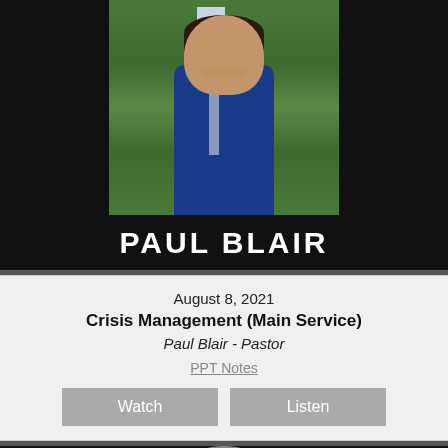[Figure (photo): Portrait photo of Paul Blair wearing a blue suit, white shirt, and patterned tie, smiling, with green foliage background. Name 'PAUL BLAIR' displayed in large white uppercase text below the photo on a black background.]
August 8, 2021
Crisis Management (Main Service)
Paul Blair - Pastor
PPT Notes
Watch
Listen
[Figure (photo): Partial portrait photo of a second person (partially visible, head and shoulders) with gray hair, on a dark/green background. A caret (^) symbol appears in the bottom right corner.]